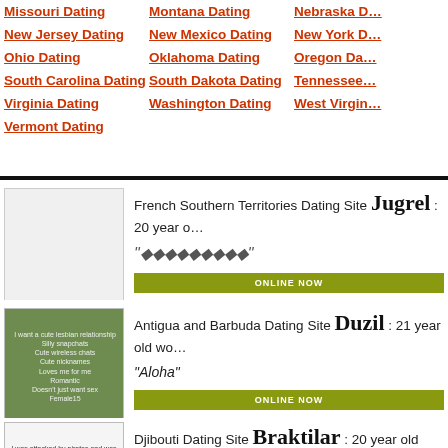Missouri Dating
New Jersey Dating
Ohio Dating
South Carolina Dating
Virginia Dating
Vermont Dating
Montana Dating
New Mexico Dating
Oklahoma Dating
South Dakota Dating
Washington Dating
Nebraska D...
New York D...
Oregon Da...
Tennessee...
West Virgin...
French Southern Territories Dating Site Jugrel : 20 year o...
"💎💎💎💎💎💎💎💎💎"
ONLINE NOW
Antigua and Barbuda Dating Site Duzil : 21 year old wo...
"Aloha"
ONLINE NOW
Djibouti Dating Site Braktilar : 20 year old woman
"Ahlan wa sahlan"